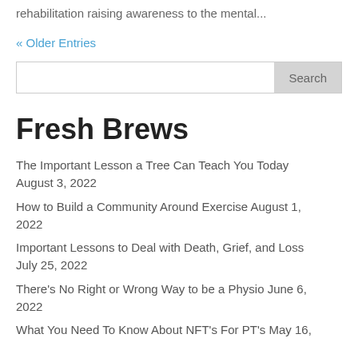rehabilitation raising awareness to the mental...
« Older Entries
The Important Lesson a Tree Can Teach You Today August 3, 2022
How to Build a Community Around Exercise August 1, 2022
Important Lessons to Deal with Death, Grief, and Loss July 25, 2022
There's No Right or Wrong Way to be a Physio June 6, 2022
What You Need To Know About NFT's For PT's May 16,